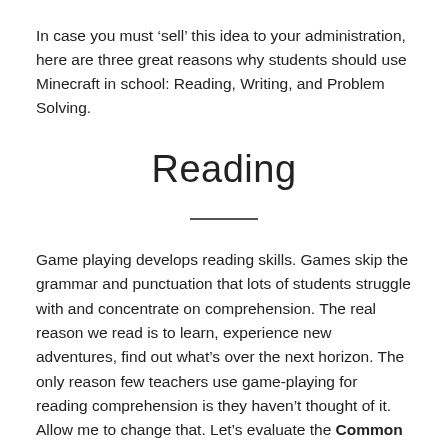In case you must ‘sell’ this idea to your administration, here are three great reasons why students should use Minecraft in school: Reading, Writing, and Problem Solving.
Reading
Game playing develops reading skills. Games skip the grammar and punctuation that lots of students struggle with and concentrate on comprehension. The real reason we read is to learn, experience new adventures, find out what’s over the next horizon. The only reason few teachers use game-playing for reading comprehension is they haven’t thought of it. Allow me to change that. Let’s evaluate the Common Core Reading Standards and their good fit with games: